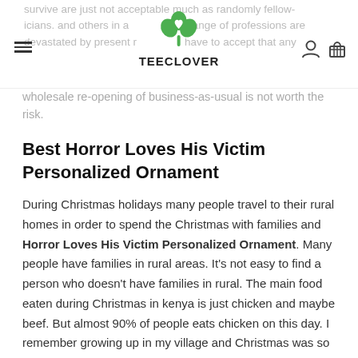TEECLOVER
survive are just not acceptable much as randomly fellow-icians. and others in a wide range of professions are devastated by present reality to have to accept that any wholesale re-opening of business-as-usual is not worth the risk.
Best Horror Loves His Victim Personalized Ornament
During Christmas holidays many people travel to their rural homes in order to spend the Christmas with families and Horror Loves His Victim Personalized Ornament. Many people have families in rural areas. It's not easy to find a person who doesn't have families in rural. The main food eaten during Christmas in kenya is just chicken and maybe beef. But almost 90% of people eats chicken on this day. I remember growing up in my village and Christmas was so special because it was a day that almost everyone ate what I considered not so common food in my village. Children were